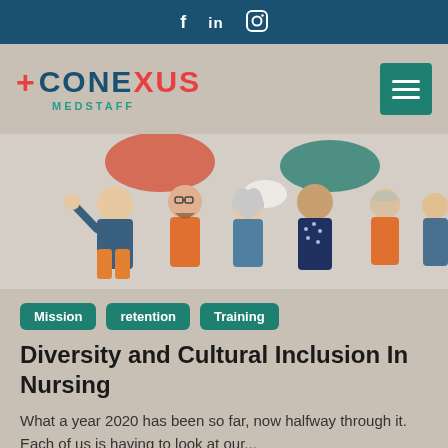f  in  (instagram icon)
[Figure (logo): Conexus MedStaff logo with red plus sign, teal and red wordmark, teal MEDSTAFF text, and teal hamburger menu button]
[Figure (illustration): Colorful flat illustration of a diverse group of people including a person wearing a hijab, a person with glasses and a beard, a smiling man, an older woman, and others with speech bubbles in orange and teal tones]
Mission
retention
Training
Diversity and Cultural Inclusion In Nursing
What a year 2020 has been so far, now halfway through it. Each of us is having to look at our...
Read More